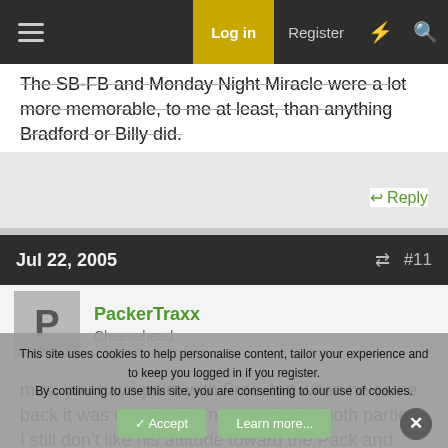Log in | Register
The SB-FB and Monday Night Miracle were a lot more memorable, to me at least, than anything Bradford or Billy did.
Reply
Jul 22, 2005 #11
PackerTraxx
Cheesehead
mus, you have point with Free, but when he came back it was out of a big neccessity for both parties. I still don't like his attitude toward the Pack and would vote no.
This site uses cookies to help personalise content, tailor your experience and to keep you logged in if you register.
By continuing to use this site, you are consenting to our use of cookies.
Accept   Learn more...